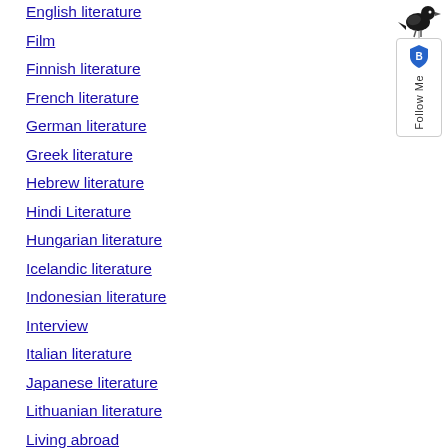English literature
Film
Finnish literature
French literature
German literature
Greek literature
Hebrew literature
Hindi Literature
Hungarian literature
Icelandic literature
Indonesian literature
Interview
Italian literature
Japanese literature
Lithuanian literature
Living abroad
My library
Norwegian literature
Opinion
[Figure (illustration): A sidebar widget showing a bird icon at the top and a 'Follow Me' badge with a shield/privacy icon below it, positioned on the right side of the page.]